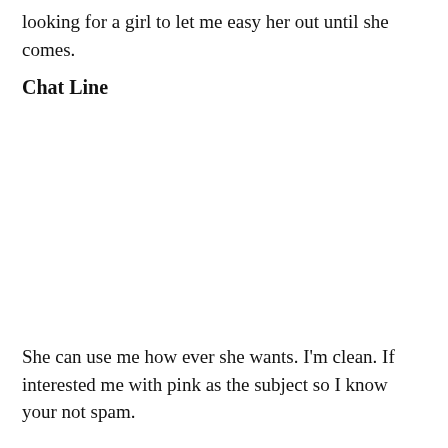looking for a girl to let me easy her out until she comes.
Chat Line
She can use me how ever she wants. I'm clean. If interested me with pink as the subject so I know your not spam.